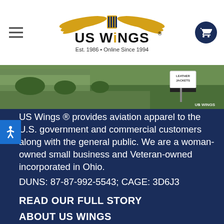US Wings — Est. 1986 • Online Since 1994
[Figure (photo): Exterior photo of US Wings store building with green lawn and Leather Jackets sign, US Wings watermark at bottom right]
US Wings ® provides aviation apparel to the U.S. government and commercial customers along with the general public. We are a woman-owned small business and Veteran-owned incorporated in Ohio.
DUNS: 87-87-992-5543; CAGE: 3D6J3
READ OUR FULL STORY
ABOUT US WINGS